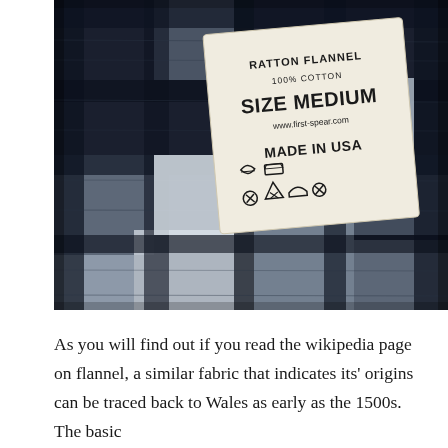[Figure (photo): Close-up photo of a black and white plaid/buffalo check flannel fabric with a clothing label reading: RATTON FLANNEL, 100% COTTON, SIZE MEDIUM, www.first-spear.com, MADE IN USA, with laundry care symbols below.]
As you will find out if you read the wikipedia page on flannel, a similar fabric that indicates its' origins can be traced back to Wales as early as the 1500s. The basic